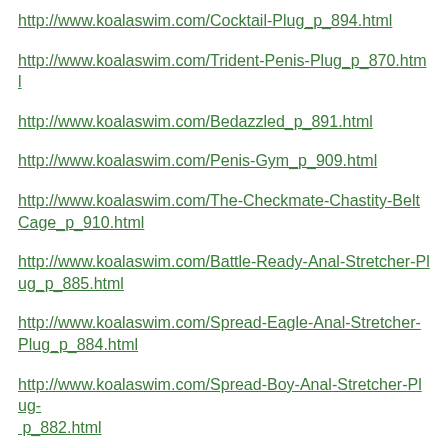http://www.koalaswim.com/Cocktail-Plug_p_894.html
http://www.koalaswim.com/Trident-Penis-Plug_p_870.html
http://www.koalaswim.com/Bedazzled_p_891.html
http://www.koalaswim.com/Penis-Gym_p_909.html
http://www.koalaswim.com/The-Checkmate-Chastity-BeltCage_p_910.html
http://www.koalaswim.com/Battle-Ready-Anal-Stretcher-Plug_p_885.html
http://www.koalaswim.com/Spread-Eagle-Anal-Stretcher-Plug_p_884.html
http://www.koalaswim.com/Spread-Boy-Anal-Stretcher-Plug-p_882.html